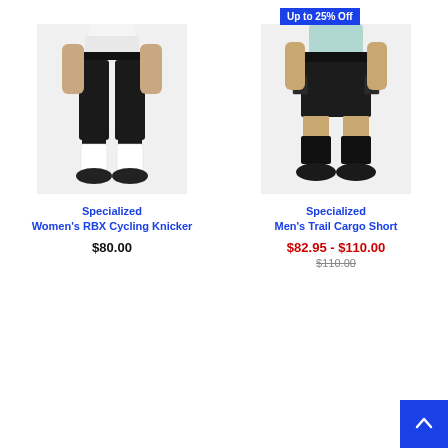[Figure (photo): Woman wearing black cycling knickers with white socks and black shoes, cropped at torso]
Specialized
Women's RBX Cycling Knicker
$80.00
Up to 25% Off
[Figure (photo): Man wearing black trail cargo shorts with black socks and black shoes, cropped at torso]
Specialized
Men's Trail Cargo Short
$82.95 - $110.00
$110.00